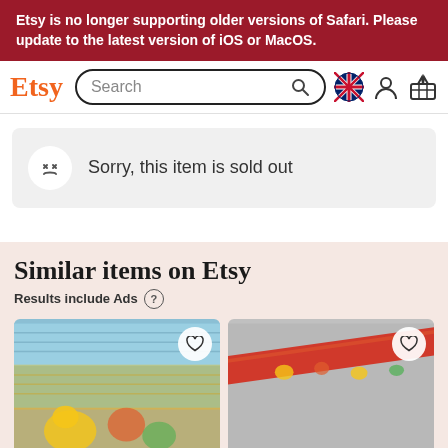Etsy is no longer supporting older versions of Safari. Please update to the latest version of iOS or MacOS.
[Figure (screenshot): Etsy navigation bar with logo, search box, UK flag icon, user icon, and cart icon]
Sorry, this item is sold out
Similar items on Etsy
Results include Ads
[Figure (photo): Product thumbnail showing Winnie the Pooh character ribbon with heart/favorite button]
[Figure (photo): Product thumbnail showing red ribbon with Winnie the Pooh characters with heart/favorite button]